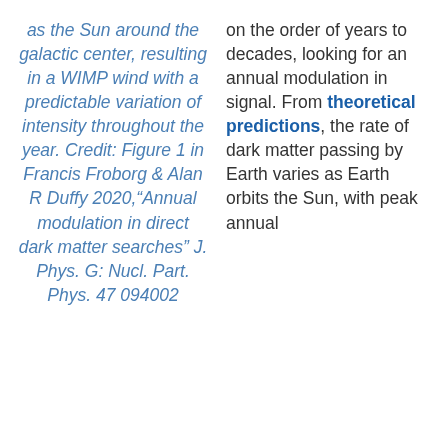as the Sun around the galactic center, resulting in a WIMP wind with a predictable variation of intensity throughout the year. Credit: Figure 1 in Francis Froborg & Alan R Duffy 2020,"Annual modulation in direct dark matter searches" J. Phys. G: Nucl. Part. Phys. 47 094002
on the order of years to decades, looking for an annual modulation in signal. From theoretical predictions, the rate of dark matter passing by Earth varies as Earth orbits the Sun, with peak annual